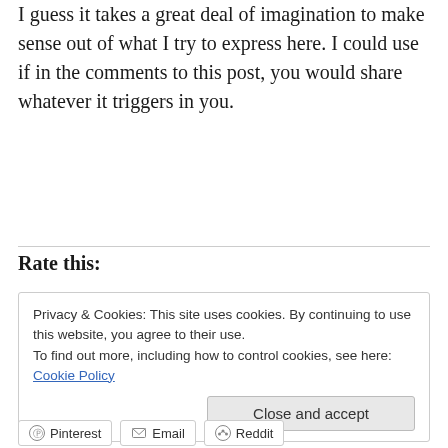I guess it takes a great deal of imagination to make sense out of what I try to express here. I could use if in the comments to this post, you would share whatever it triggers in you.
Rate this:
Privacy & Cookies: This site uses cookies. By continuing to use this website, you agree to their use.
To find out more, including how to control cookies, see here: Cookie Policy
Pinterest  Email  Reddit